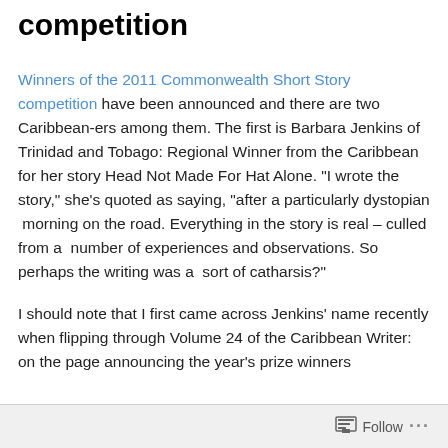competition
Winners of the 2011 Commonwealth Short Story competition have been announced and there are two Caribbean-ers among them. The first is Barbara Jenkins of Trinidad and Tobago: Regional Winner from the Caribbean for her story Head Not Made For Hat Alone. “I wrote the story,” she’s quoted as saying, “after a particularly dystopian morning on the road. Everything in the story is real – culled from a number of experiences and observations. So perhaps the writing was a sort of catharsis?”
I should note that I first came across Jenkins’ name recently when flipping through Volume 24 of the Caribbean Writer: on the page announcing the year’s prize winners
Follow ...